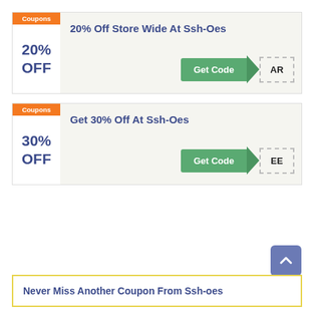[Figure (infographic): Coupon card: 20% Off Store Wide At Ssh-Oes with Get Code button and partial code AR]
[Figure (infographic): Coupon card: Get 30% Off At Ssh-Oes with Get Code button and partial code EE]
Never Miss Another Coupon From Ssh-oes